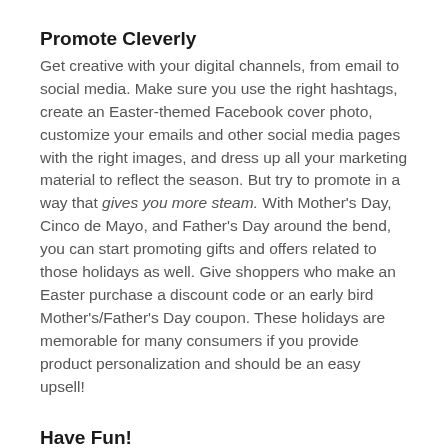Promote Cleverly
Get creative with your digital channels, from email to social media. Make sure you use the right hashtags, create an Easter-themed Facebook cover photo, customize your emails and other social media pages with the right images, and dress up all your marketing material to reflect the season. But try to promote in a way that gives you more steam. With Mother's Day, Cinco de Mayo, and Father's Day around the bend, you can start promoting gifts and offers related to those holidays as well. Give shoppers who make an Easter purchase a discount code or an early bird Mother's/Father's Day coupon. These holidays are memorable for many consumers if you provide product personalization and should be an easy upsell!
Have Fun!
And don't forget to have a little fun with your promotions. Look to ensure that your customers have a great time shopping with an online Easter egg hunt or extend the hunt beyond the website to social media. Consider hosting contests or holiday-specific